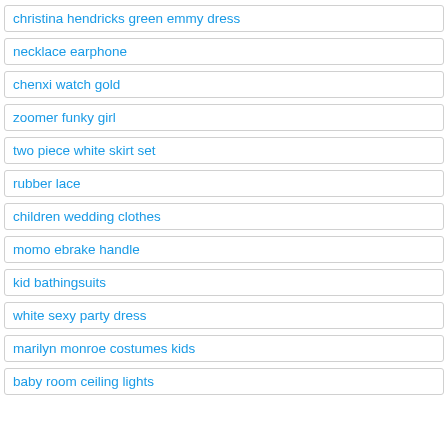christina hendricks green emmy dress
necklace earphone
chenxi watch gold
zoomer funky girl
two piece white skirt set
rubber lace
children wedding clothes
momo ebrake handle
kid bathingsuits
white sexy party dress
marilyn monroe costumes kids
baby room ceiling lights